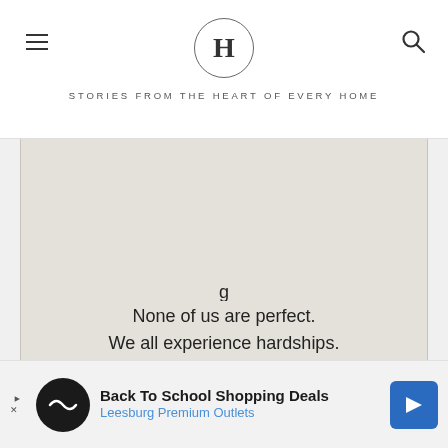H — STORIES FROM THE HEART OF EVERY HOME
[Figure (infographic): Light gray quote card with text: 'None of us are perfect. We all experience hardships. We ALL struggle because we are all human. In case you need reminding, You are enough. @survivingmomblog for HER VIEW FROM HOME']
[Figure (screenshot): Purple background browser window showing herviewfromhome.com URL bar with search icon]
[Figure (infographic): Advertisement bar: Back To School Shopping Deals — Leesburg Premium Outlets]